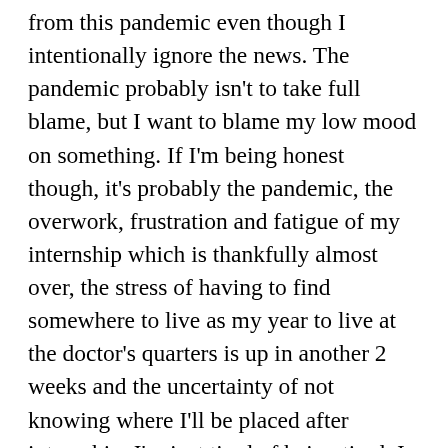... my mental health has taken a huge hit from this pandemic even though I intentionally ignore the news. The pandemic probably isn't to take full blame, but I want to blame my low mood on something. If I'm being honest though, it's probably the pandemic, the overwork, frustration and fatigue of my internship which is thankfully almost over, the stress of having to find somewhere to live as my year to live at the doctor's quarters is up in another 2 weeks and the uncertainty of not knowing where I'll be placed after internship. I'm just tired of being tired. I did internship through Jamaica's worst dengue outbreak and now this. The limited news I take in doesn't